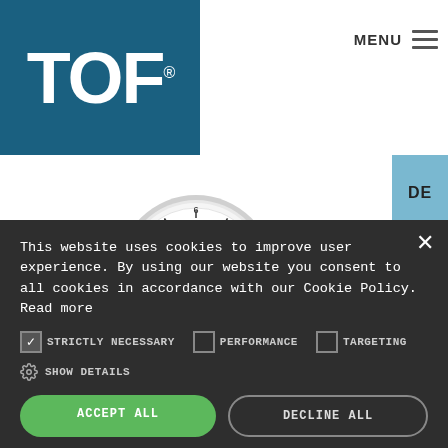[Figure (logo): TOF logo — white bold letters on dark teal/blue background with registered trademark symbol]
MENU ☰
DE
ES
IT
[Figure (photo): A round pressure gauge with chrome bezel showing scale from 0 to 10 bar with needle pointing near 0, TOF branding visible, brass fitting at bottom]
This website uses cookies to improve user experience. By using our website you consent to all cookies in accordance with our Cookie Policy. Read more
STRICTLY NECESSARY   PERFORMANCE   TARGETING
SHOW DETAILS
ACCEPT ALL
DECLINE ALL